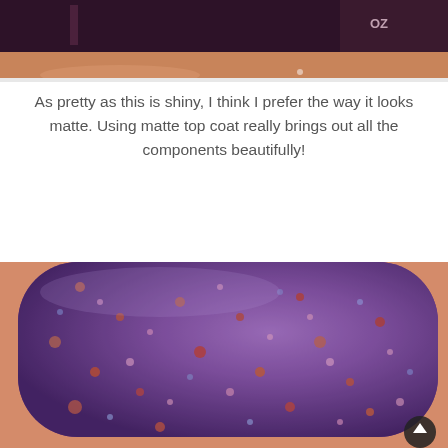[Figure (photo): Close-up photo of a hand holding a dark purple nail polish bottle, partially cropped at top of page.]
As pretty as this is shiny, I think I prefer the way it looks matte. Using matte top coat really brings out all the components beautifully!
[Figure (photo): Close-up macro photo of a fingernail painted with matte purple nail polish containing multicolored sparkle/glitter flecks in pink, orange, and blue tones.]